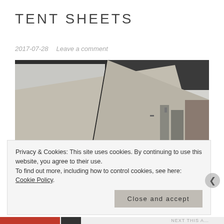TENT SHEETS
2017-07-28   Leave a comment
[Figure (photo): Photograph of large beige/tan tent fabric sheets stretched diagonally across a rooftop or outdoor area, with urban buildings visible in the cloudy background]
Privacy & Cookies: This site uses cookies. By continuing to use this website, you agree to their use.
To find out more, including how to control cookies, see here: Cookie Policy
Close and accept